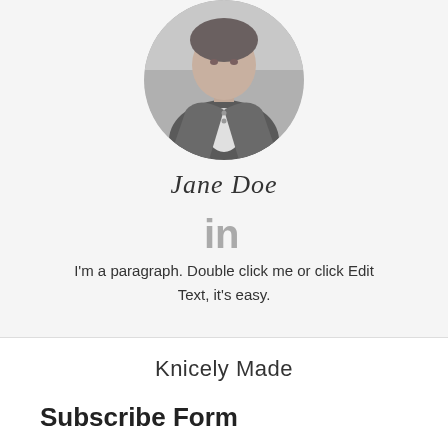[Figure (photo): Circular cropped black and white portrait photo of a person wearing a denim jacket]
Jane Doe
[Figure (logo): LinkedIn 'in' icon in gray]
I'm a paragraph. Double click me or click Edit Text, it's easy.
Knicely Made
Subscribe Form
Email Address
Subscribe button (partially visible)